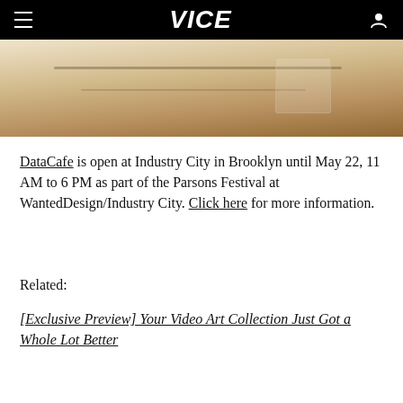VICE
[Figure (photo): Cropped photo showing a wooden surface with cables or wires, partial view of studio/workshop objects on a light background]
DataCafe is open at Industry City in Brooklyn until May 22, 11 AM to 6 PM as part of the Parsons Festival at WantedDesign/Industry City. Click here for more information.
Related:
[Exclusive Preview] Your Video Art Collection Just Got a Whole Lot Better